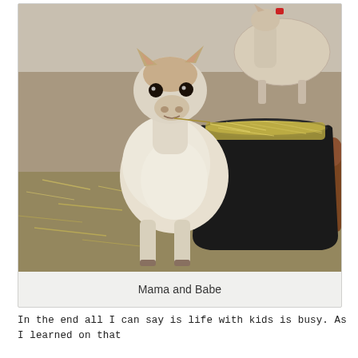[Figure (photo): Photograph of a baby alpaca (cria) standing and looking at the camera, with an adult alpaca visible in the background on the right side and a large black hay trough also visible. The setting appears to be a farm yard with hay on the ground.]
Mama and Babe
In the end all I can say is life with kids is busy. As I learned on that